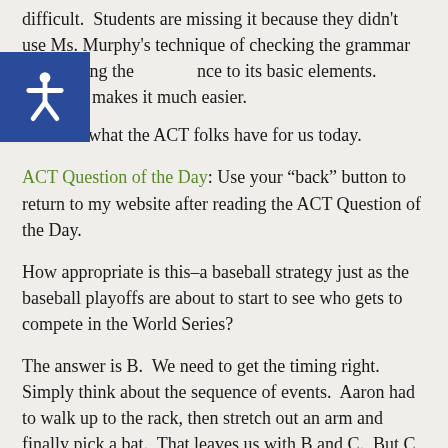difficult.  Students are missing it because they didn't use Ms. Murphy's technique of checking the grammar by reducing the sentence to its basic elements.  Doing so makes it much easier.
Let's see what the ACT folks have for us today.
ACT Question of the Day: Use your “back” button to return to my website after reading the ACT Question of the Day.
How appropriate is this–a baseball strategy just as the baseball playoffs are about to start to see who gets to compete in the World Series?
The answer is B.  We need to get the timing right.  Simply think about the sequence of events.  Aaron had to walk up to the rack, then stretch out an arm and finally pick a bat.  That leaves us with B and C.  But C doesn’t make sense because he didn’t walk up to the rack “to stretch out a sinewy arm.”  He walked up to it to pick a bat.  That leaves B.  Thanks again to Ms.